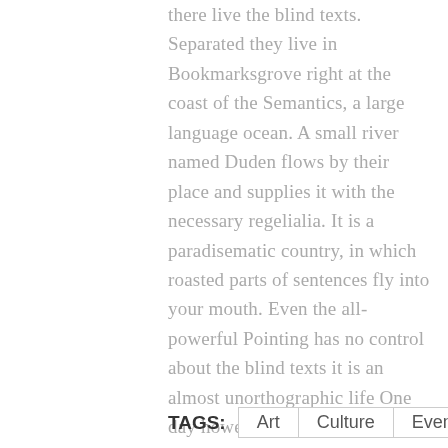there live the blind texts. Separated they live in Bookmarksgrove right at the coast of the Semantics, a large language ocean. A small river named Duden flows by their place and supplies it with the necessary regelialia. It is a paradisematic country, in which roasted parts of sentences fly into your mouth. Even the all-powerful Pointing has no control about the blind texts it is an almost unorthographic life One day however a small line of blind text by the name of Lorem Ipsum decided to leave for the far World of Grammar. The Big Oxmox advised her not to do so, because there were thousands of bad Commas, wild Question Marks and devious Semikoli, but the Little Blind Text didn't listen.
TAGS: Art Culture Events